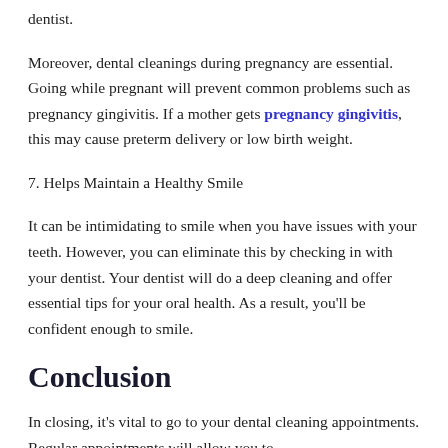dentist.
Moreover, dental cleanings during pregnancy are essential. Going while pregnant will prevent common problems such as pregnancy gingivitis. If a mother gets pregnancy gingivitis, this may cause preterm delivery or low birth weight.
7. Helps Maintain a Healthy Smile
It can be intimidating to smile when you have issues with your teeth. However, you can eliminate this by checking in with your dentist. Your dentist will do a deep cleaning and offer essential tips for your oral health. As a result, you'll be confident enough to smile.
Conclusion
In closing, it's vital to go to your dental cleaning appointments. Regular appointments will allow you to